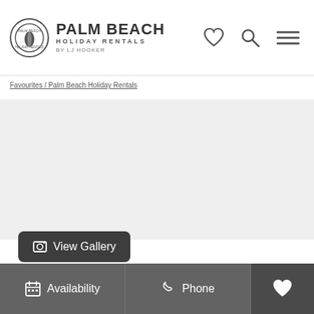PALM BEACH HOLIDAY RENTALS BY LJ HOOKER
Favourites / Palm Beach Holiday Rentals
[Figure (photo): Large property photo placeholder area (white/light grey, image not loaded)]
View Gallery
Availability  Phone  (heart/favourite)